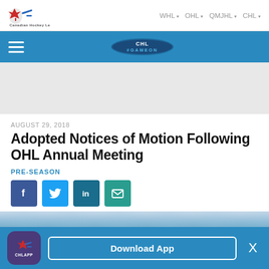CHL — WHL | OHL | QMJHL | CHL navigation header
[Figure (screenshot): CHL blue navigation bar with hamburger menu and CHL Game On logo]
[Figure (photo): Grey advertisement placeholder area]
AUGUST 29, 2018
Adopted Notices of Motion Following OHL Annual Meeting
PRE-SEASON
[Figure (infographic): Social share buttons: Facebook, Twitter, LinkedIn, Email]
[Figure (photo): Partial photo of a hockey arena ceiling/roof structure]
CHL App — Download App — X